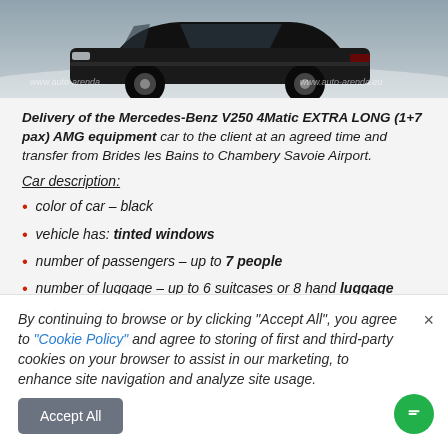[Figure (photo): Photo of a black Mercedes-Benz V250 4Matic vehicle in snowy conditions with watermarks 'www.auto-arenda...' visible on left and right sides]
Delivery of the Mercedes-Benz V250 4Matic EXTRA LONG (1+7 pax) AMG equipment car to the client at an agreed time and transfer from Brides les Bains to Chambery Savoie Airport.
Car description:
color of car – black
vehicle has: tinted windows
number of passengers – up to 7 people
number of luggage – up to 6 suitcases or 8 hand luggage
Conditions of transfer:
free waiting (after the stipulated time) – up to 30
By continuing to browse or by clicking "Accept All", you agree to "Cookie Policy" and agree to storing of first and third-party cookies on your browser to assist in our marketing, to enhance site navigation and analyze site usage.